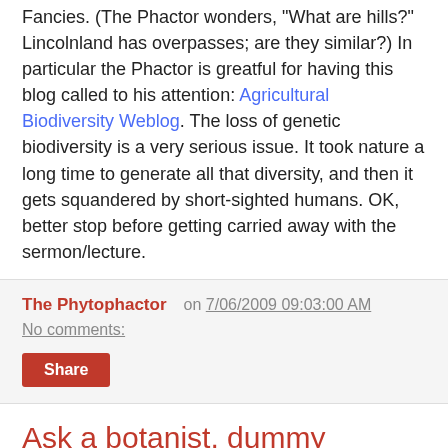Fancies. (The Phactor wonders, "What are hills?" Lincolnland has overpasses; are they similar?) In particular the Phactor is greatful for having this blog called to his attention: Agricultural Biodiversity Weblog. The loss of genetic biodiversity is a very serious issue. It took nature a long time to generate all that diversity, and then it gets squandered by short-sighted humans. OK, better stop before getting carried away with the sermon/lecture.
The Phytophactor   on 7/06/2009 09:03:00 AM
No comments:
Share
Ask a botanist, dummy
Nobody ever has a botanist around when they need one, and nobody ever thinks they need one. Nobody ever asks a botanist for answers to botanical things. (I told the local poison control center MDs that if I ever see them thumbing